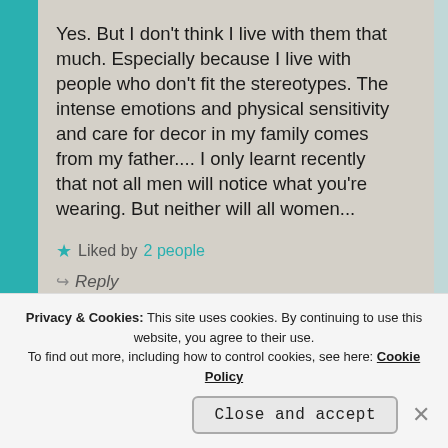Yes. But I don't think I live with them that much. Especially because I live with people who don't fit the stereotypes. The intense emotions and physical sensitivity and care for decor in my family comes from my father.... I only learnt recently that not all men will notice what you're wearing. But neither will all women...
★ Liked by 2 people
↪ Reply
Privacy & Cookies: This site uses cookies. By continuing to use this website, you agree to their use. To find out more, including how to control cookies, see here: Cookie Policy